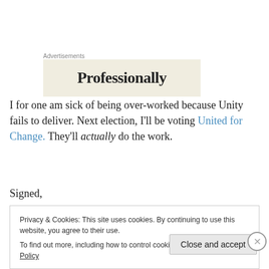[Figure (other): Advertisement banner with beige background showing the word 'Professionally' in large serif font]
I for one am sick of being over-worked because Unity fails to deliver. Next election, I'll be voting United for Change. They'll actually do the work.
Signed,
Privacy & Cookies: This site uses cookies. By continuing to use this website, you agree to their use.
To find out more, including how to control cookies, see here: Cookie Policy